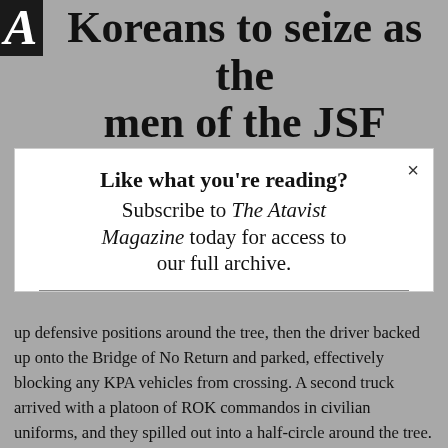Koreans to seize as the men of the JSF fought for their lives.
Like what you're reading? Subscribe to The Atavist Magazine today for access to our full archive.
up defensive positions around the tree, then the driver backed up onto the Bridge of No Return and parked, effectively blocking any KPA vehicles from crossing. A second truck arrived with a platoon of ROK commandos in civilian uniforms, and they spilled out into a half-circle around the tree. Finally,